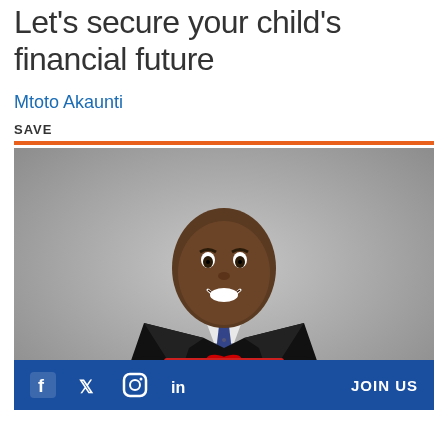Let's secure your child's financial future
Mtoto Akaunti
SAVE
[Figure (photo): A smiling man in a dark suit and tie holding a red and white striped gift box with a red bow, photographed against a grey background.]
JOIN US